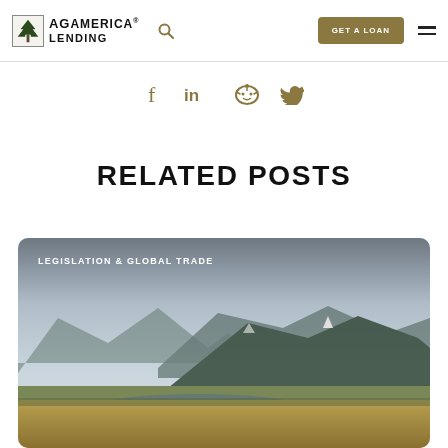[Figure (logo): AgAmerica Lending logo with tree icon and company name]
[Figure (infographic): Social sharing icons: Facebook, LinkedIn, Reddit, Twitter in olive/gold color]
RELATED POSTS
[Figure (photo): Landscape photo of mountains and fields with rounded card overlay, labeled LEGISLATION & GLOBAL TRADE]